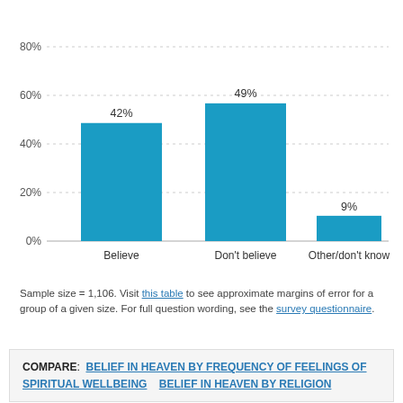[Figure (bar-chart): ]
Sample size = 1,106. Visit this table to see approximate margins of error for a group of a given size. For full question wording, see the survey questionnaire.
COMPARE: BELIEF IN HEAVEN BY FREQUENCY OF FEELINGS OF SPIRITUAL WELLBEING    BELIEF IN HEAVEN BY RELIGION